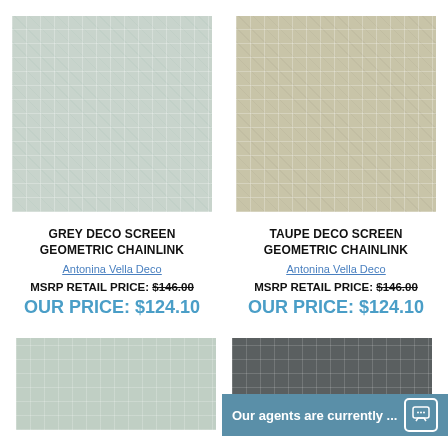[Figure (photo): Grey deco screen geometric chainlink fabric swatch]
[Figure (photo): Taupe deco screen geometric chainlink fabric swatch]
GREY DECO SCREEN GEOMETRIC CHAINLINK
Antonina Vella Deco
MSRP RETAIL PRICE: $146.00
OUR PRICE: $124.10
TAUPE DECO SCREEN GEOMETRIC CHAINLINK
Antonina Vella Deco
MSRP RETAIL PRICE: $146.00
OUR PRICE: $124.10
[Figure (photo): Mint/green deco screen geometric chainlink fabric swatch (partial)]
[Figure (photo): Dark grey/charcoal deco screen geometric chainlink fabric swatch (partial)]
Our agents are currently ...